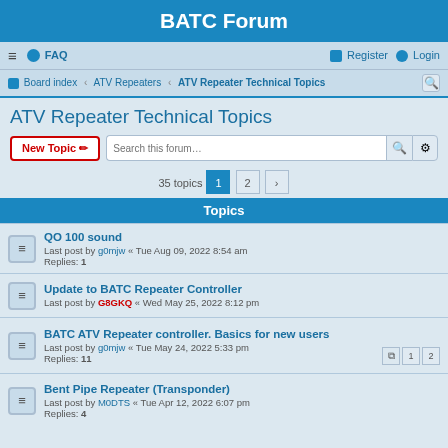BATC Forum
≡ FAQ   Register Login
Board index » ATV Repeaters » ATV Repeater Technical Topics
ATV Repeater Technical Topics
New Topic  Search this forum…  35 topics 1 2
Topics
QO 100 sound
Last post by g0mjw « Tue Aug 09, 2022 8:54 am
Replies: 1
Update to BATC Repeater Controller
Last post by G8GKQ « Wed May 25, 2022 8:12 pm
BATC ATV Repeater controller. Basics for new users
Last post by g0mjw « Tue May 24, 2022 5:33 pm
Replies: 11
Bent Pipe Repeater (Transponder)
Last post by M0DTS « Tue Apr 12, 2022 6:07 pm
Replies: 4